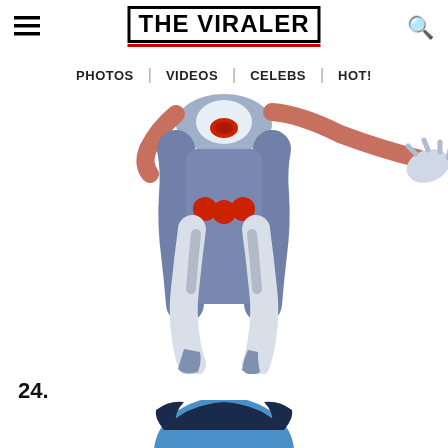THE VIRALER
[Figure (illustration): Comic book style illustration of a superhero character in blue and white costume, shown from torso down, leaping or flying. Another character's gloved hand visible at top right.]
24.
[Figure (illustration): Partial view of a blue-skinned comic book character's head with dark hair, visible from top of frame.]